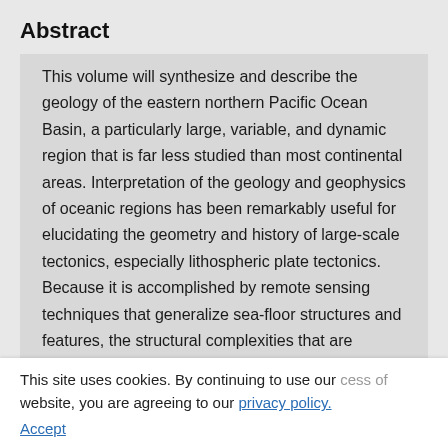Abstract
This volume will synthesize and describe the geology of the eastern northern Pacific Ocean Basin, a particularly large, variable, and dynamic region that is far less studied than most continental areas. Interpretation of the geology and geophysics of oceanic regions has been remarkably useful for elucidating the geometry and history of large-scale tectonics, especially lithospheric plate tectonics. Because it is accomplished by remote sensing techniques that generalize sea-floor structures and features, the structural complexities that are observed onshore at road-cut scales are smoothed out
This site uses cookies. By continuing to use our website, you are agreeing to our privacy policy. Accept